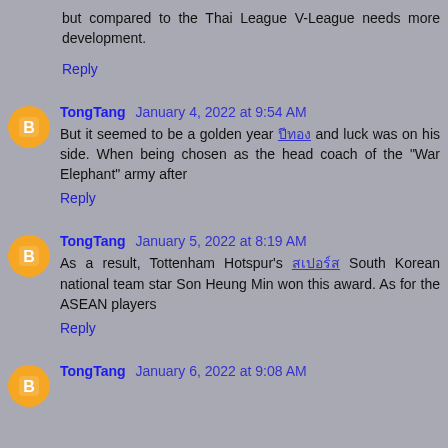but compared to the Thai League V-League needs more development.
Reply
TongTang  January 4, 2022 at 9:54 AM
But it seemed to be a golden year [Thai text] and luck was on his side. When being chosen as the head coach of the "War Elephant" army after
Reply
TongTang  January 5, 2022 at 8:19 AM
As a result, Tottenham Hotspur's [Thai text] South Korean national team star Son Heung Min won this award. As for the ASEAN players
Reply
TongTang  January 6, 2022 at 9:08 AM